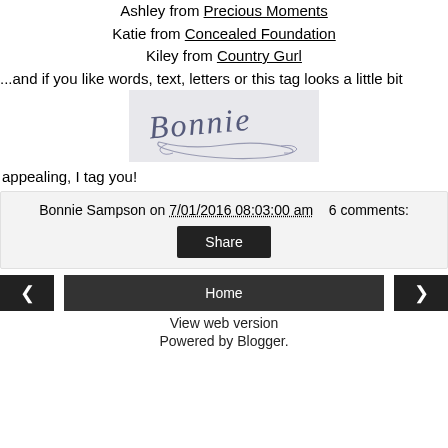Ashley from Precious Moments
Katie from Concealed Foundation
Kiley from Country Gurl
...and if you like words, text, letters or this tag looks a little bit
[Figure (illustration): Handwritten cursive signature reading 'Bonnie' on a light grey background]
appealing, I tag you!
Bonnie Sampson on 7/01/2016 08:03:00 am    6 comments:
Share
Home
View web version
Powered by Blogger.